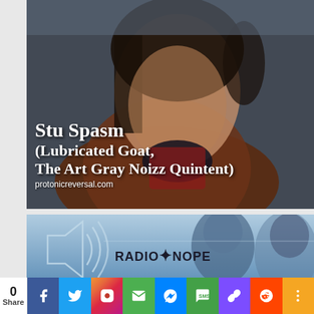[Figure (photo): Portrait photo of Stu Spasm, a man with long dark hair wearing a brown leather jacket and dark red shirt, seated, looking at camera. Text overlay reads: Stu Spasm (Lubricated Goat, The Art Gray Noizz Quintent) protonicreversal.com]
[Figure (photo): Radio Nope logo with speaker icon and two blurred people in background on blue background]
0 Share
f (Facebook share button)
Twitter share button
Instagram share button
Email share button
Messenger share button
SMS share button
Copy link share button
Reddit share button
More share button